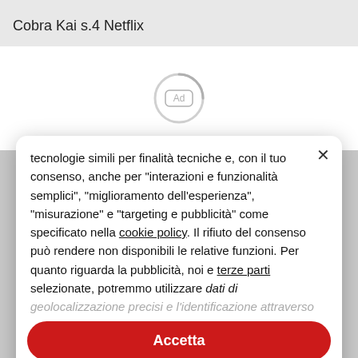Cobra Kai s.4 Netflix
[Figure (other): Loading spinner with Ad label in center]
tecnologie simili per finalità tecniche e, con il tuo consenso, anche per “interazioni e funzionalità semplici”, “miglioramento dell'esperienza”, “misurazione” e “targeting e pubblicità” come specificato nella cookie policy. Il rifiuto del consenso può rendere non disponibili le relative funzioni. Per quanto riguarda la pubblicità, noi e terze parti selezionate, potremmo utilizzare dati di geolocalizzazione precisi e l'identificazione attraverso
Accetta
Scopri di più e personalizza